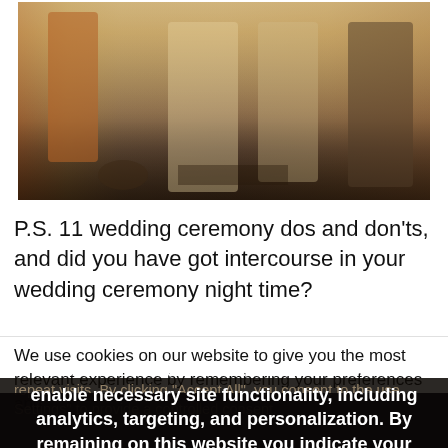[Figure (photo): Vintage photograph showing people's lower bodies standing in a row, cropped at torso level. Retro/polaroid style with warm tones, appears to be from the 1970s or 1980s.]
P.S. 11 wedding ceremony dos and don'ts, and did you have got intercourse in your wedding ceremony night time?
We use cookies on our website to give you the most relevant experience by remembering your preferences and repeat visits. By clicking "Accept All", you consent to the use... Settings" to provide a controlled consent.
This website stores data such as cookies to enable necessary site functionality, including analytics, targeting, and personalization. By remaining on this website you indicate your consent Cookie Policy  X